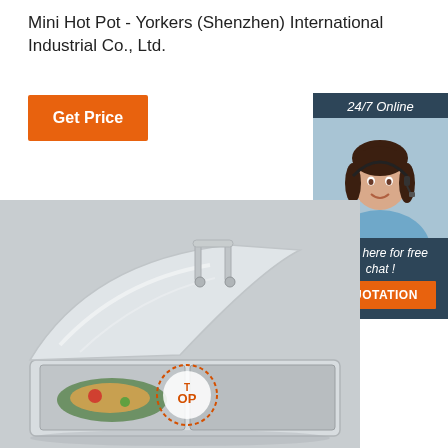Mini Hot Pot - Yorkers (Shenzhen) International Industrial Co., Ltd.
[Figure (other): Orange 'Get Price' button]
[Figure (other): Sidebar widget with '24/7 Online' label, customer service agent photo with headset, 'Click here for free chat!' text, and orange QUOTATION button on dark blue background]
[Figure (photo): Stainless steel mini hot pot / chafing dish with lid open, showing divided food trays with food inside, on a grey background. A 'TOP' badge is visible in the bottom right area.]